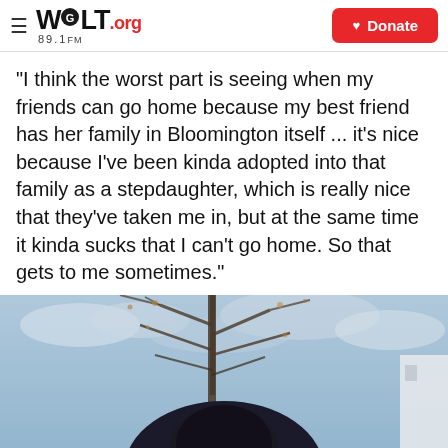WGLT.org 89.1FM | Donate
"I think the worst part is seeing when my friends can go home because my best friend has her family in Bloomington itself ... it's nice because I've been kinda adopted into that family as a stepdaughter, which is really nice that they've taken me in, but at the same time it kinda sucks that I can't go home. So that gets to me sometimes."
[Figure (photo): A person with dark hair photographed from below against a cloudy sky with bare winter tree branches in background]
WGLT | 1A